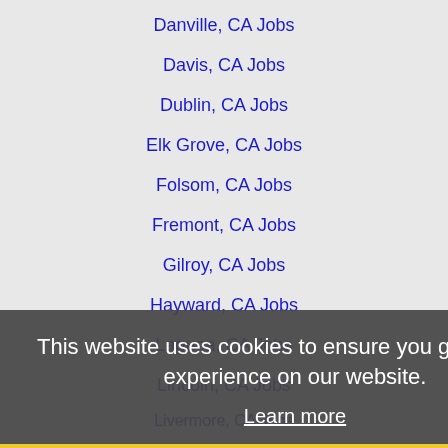Danville, CA Jobs
Davis, CA Jobs
Dublin, CA Jobs
Elk Grove, CA Jobs
Folsom, CA Jobs
Fremont, CA Jobs
Gilroy, CA Jobs
Hayward, CA Jobs
Laguna, CA Jobs
Lincoln, CA Jobs
Livermore, CA Jobs
Lodi, CA Jobs
Manteca, CA Jobs
Milpitas, CA Jobs
Modesto, CA Jobs
Mountain View, CA Jobs
Napa, CA Jobs
Newark, CA Jobs
This website uses cookies to ensure you get the best experience on our website.
Learn more
Got it!